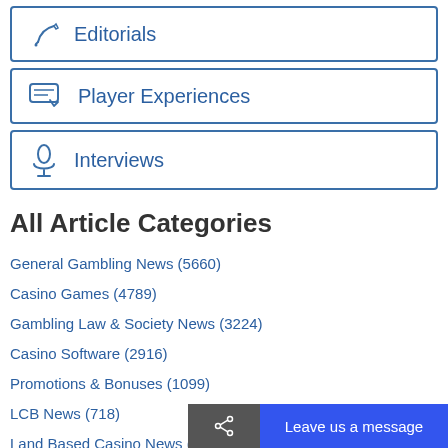Editorials
Player Experiences
Interviews
All Article Categories
General Gambling News (5660)
Casino Games (4789)
Gambling Law & Society News (3224)
Casino Software (2916)
Promotions & Bonuses (1099)
LCB News (718)
Land Based Casino News (6…)